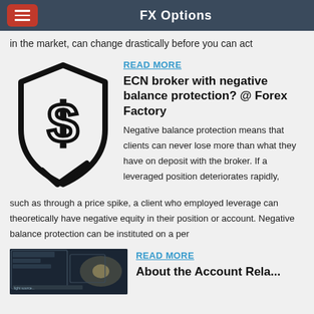FX Options
in the market, can change drastically before you can act
[Figure (illustration): Shield icon with dollar sign and checkmark, representing negative balance protection]
READ MORE
ECN broker with negative balance protection? @ Forex Factory
Negative balance protection means that clients can never lose more than what they have on deposit with the broker. If a leveraged position deteriorates rapidly, such as through a price spike, a client who employed leverage can theoretically have negative equity in their position or account. Negative balance protection can be instituted on a per
[Figure (photo): Dark screenshot of trading platform interface with light source visible]
READ MORE
About the Account Rela...